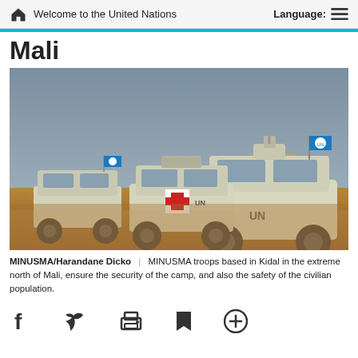Welcome to the United Nations | Language:
Mali
[Figure (photo): Three white UN armored vehicles (MRAP-type) driving in a desert environment in Kidal, Mali. Two vehicles fly UN blue flags. The vehicles have 'UN' markings and a red cross on one. Sandy terrain and a structure visible in background.]
MINUSMA/Harandane Dicko | MINUSMA troops based in Kidal in the extreme north of Mali, ensure the security of the camp, and also the safety of the civilian population.